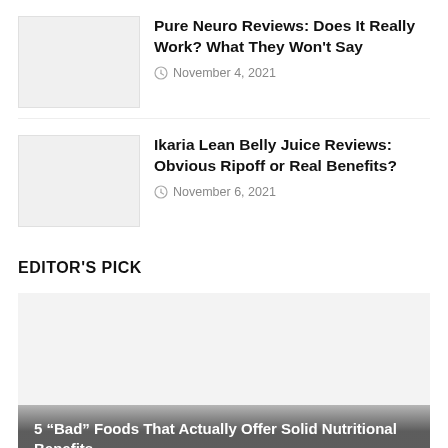[Figure (photo): Thumbnail placeholder image for Pure Neuro Reviews article]
Pure Neuro Reviews: Does It Really Work? What They Won't Say
November 4, 2021
[Figure (photo): Thumbnail placeholder image for Ikaria Lean Belly Juice Reviews article]
Ikaria Lean Belly Juice Reviews: Obvious Ripoff or Real Benefits?
November 6, 2021
EDITOR'S PICK
[Figure (photo): Large featured image placeholder for '5 Bad Foods That Actually Offer Solid Nutritional Benefits' article]
5 “Bad” Foods That Actually Offer Solid Nutritional Benefits